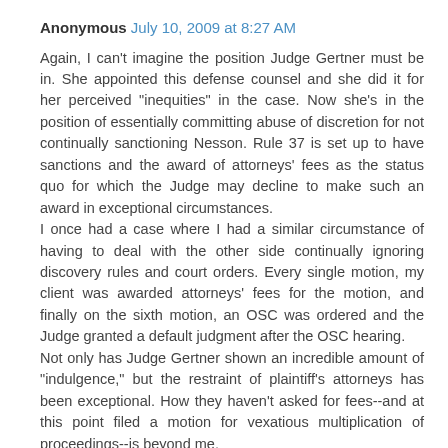Anonymous July 10, 2009 at 8:27 AM
Again, I can't imagine the position Judge Gertner must be in. She appointed this defense counsel and she did it for her perceived "inequities" in the case. Now she's in the position of essentially committing abuse of discretion for not continually sanctioning Nesson. Rule 37 is set up to have sanctions and the award of attorneys' fees as the status quo for which the Judge may decline to make such an award in exceptional circumstances.
I once had a case where I had a similar circumstance of having to deal with the other side continually ignoring discovery rules and court orders. Every single motion, my client was awarded attorneys' fees for the motion, and finally on the sixth motion, an OSC was ordered and the Judge granted a default judgment after the OSC hearing.
Not only has Judge Gertner shown an incredible amount of "indulgence," but the restraint of plaintiff's attorneys has been exceptional. How they haven't asked for fees--and at this point filed a motion for vexatious multiplication of proceedings--is beyond me.